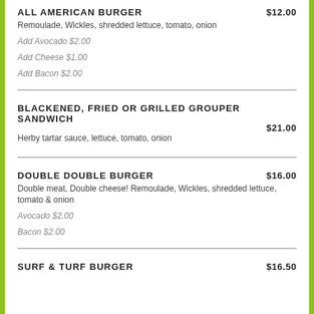ALL AMERICAN BURGER $12.00 — Remoulade, Wickles, shredded lettuce, tomato, onion. Add Avocado $2.00. Add Cheese $1.00. Add Bacon $2.00.
BLACKENED, FRIED OR GRILLED GROUPER SANDWICH $21.00 — Herby tartar sauce, lettuce, tomato, onion
DOUBLE DOUBLE BURGER $16.00 — Double meat, Double cheese! Remoulade, Wickles, shredded lettuce, tomato & onion. Avocado $2.00. Bacon $2.00.
SURF & TURF BURGER $16.50